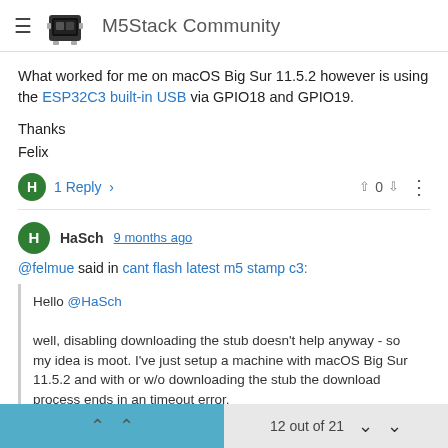M5Stack Community
What worked for me on macOS Big Sur 11.5.2 however is using the ESP32C3 built-in USB via GPIO18 and GPIO19.
Thanks
Felix
1 Reply > ^ 0 v
HaSch 9 months ago
@felmue said in cant flash latest m5 stamp c3:
Hello @HaSch

well, disabling downloading the stub doesn't help anyway - so my idea is moot. I've just setup a machine with macOS Big Sur 11.5.2 and with or w/o downloading the stub the download process ends in an timeout error.

What worked for me on macOS Big Sur 11.5.2 however is using the
12 out of 21